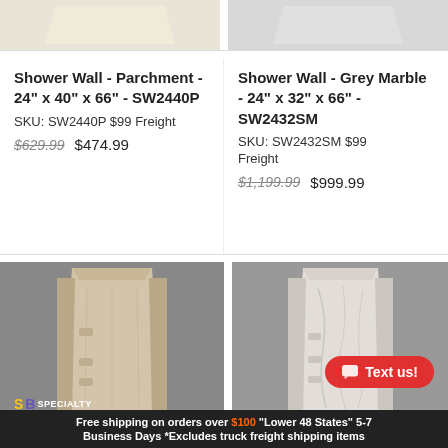[Figure (photo): Top portion of parchment-colored shower wall panel on grey background]
[Figure (photo): Top portion of grey/white shower wall panel on grey background]
Shower Wall - Parchment - 24" x 40" x 66" - SW2440P SKU: SW2440P $99 Freight $629.99   $474.99
Shower Wall - Grey Marble - 24" x 32" x 66" - SW2432SM SKU: SW2432SM $99 Freight $1,199.99   $999.99
[Figure (photo): Parchment/tan textured shower wall surround on grey background]
[Figure (photo): Grey marble textured shower wall surround on grey background]
Free shipping on orders over $100 "Lower 48 States" 5-7 Business Days *Excludes truck freight shipping items